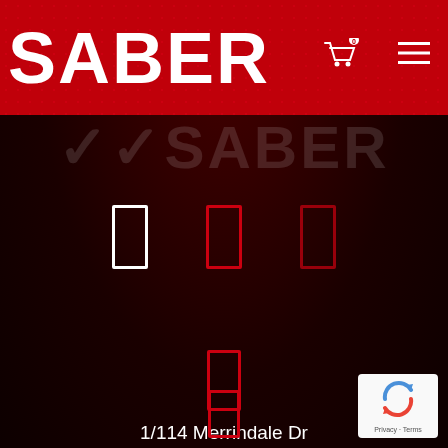[Figure (screenshot): Website header bar with red textured background showing SABER logo in white bold text, cart icon with 0 badge, and hamburger menu icon]
[Figure (screenshot): Dark red main content area showing faint SABER text watermark, three icon rectangles (one white outline, two red outlines) arranged in a row, a single red rectangle icon below, address text, reCAPTCHA badge, and another small icon at bottom]
1/114 Merrindale Dr
Croydon South, VIC 3136